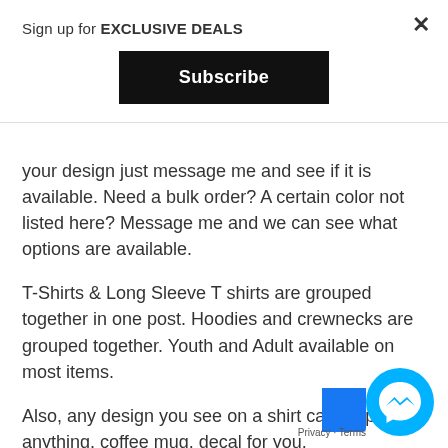Sign up for EXCLUSIVE DEALS
Subscribe
your design just message me and see if it is available. Need a bulk order? A certain color not listed here? Message me and we can see what options are available.
T-Shirts & Long Sleeve T shirts are grouped together in one post. Hoodies and crewnecks are grouped together. Youth and Adult available on most items.
Also, any design you see on a shirt can be put on anything, coffee mug, decal for you.
[Figure (illustration): Facebook Messenger chat bubble icon (cyan/blue circle with white lightning bolt/messenger logo), and a Facebook blue rectangle at right edge, with Privacy · Terms text below]
Privacy · Terms